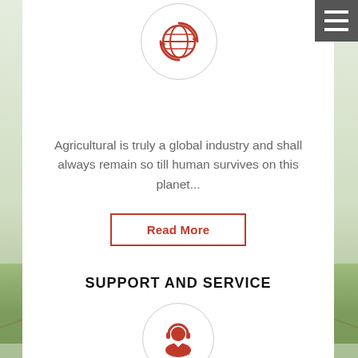[Figure (illustration): Red globe with circular arrows icon inside a circular border]
[Figure (illustration): Gray hamburger menu icon (three horizontal lines) on dark gray background, top right corner]
Agricultural is truly a global industry and shall always remain so till human survives on this planet...
Read More
SUPPORT AND SERVICE
[Figure (illustration): Red headset customer support person icon inside a circular border]